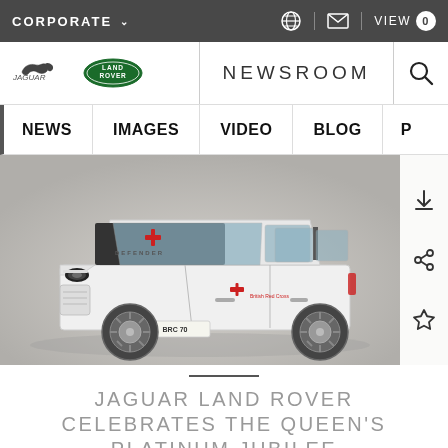CORPORATE  VIEW 0
[Figure (logo): Jaguar and Land Rover logos with NEWSROOM navigation bar and search icon]
NEWS | IMAGES | VIDEO | BLOG | P
[Figure (photo): White Land Rover Defender with British Red Cross livery, license plate BRC 70, on grey background]
JAGUAR LAND ROVER CELEBRATES THE QUEEN'S PLATINUM JUBILEE